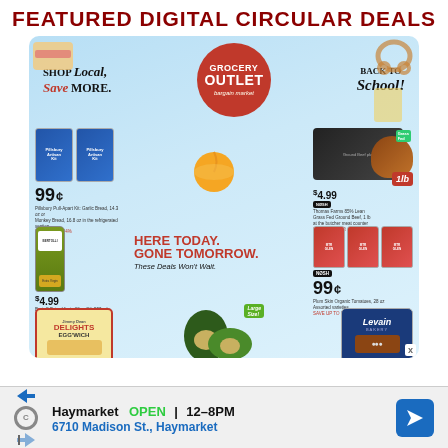FEATURED DIGITAL CIRCULAR DEALS
[Figure (infographic): Grocery Outlet Bargain Market Back to School circular ad featuring: Pillsbury Roll bread 99¢, Farmer Farm 85% lean Ground Beef 1lb $4.99, Bertolli Extra Virgin Olive Oil 500ml $4.99, Here Today Gone Tomorrow - These Deals Won't Wait banner, Plum Skin Organic Tomatoes 99¢, Delights Egg'wich, Avocados Large Size, Levain cookies]
Haymarket  OPEN  12–8PM
6710 Madison St., Haymarket